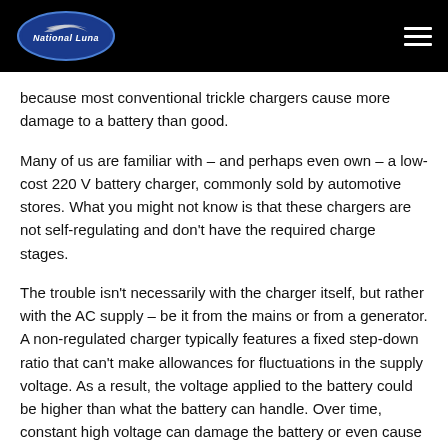National Luna
because most conventional trickle chargers cause more damage to a battery than good.
Many of us are familiar with – and perhaps even own – a low-cost 220 V battery charger, commonly sold by automotive stores. What you might not know is that these chargers are not self-regulating and don't have the required charge stages.
The trouble isn't necessarily with the charger itself, but rather with the AC supply – be it from the mains or from a generator. A non-regulated charger typically features a fixed step-down ratio that can't make allowances for fluctuations in the supply voltage. As a result, the voltage applied to the battery could be higher than what the battery can handle. Over time, constant high voltage can damage the battery or even cause it to overheat and leak. It's difficult to know which chargers are regulated and which are not, which is why